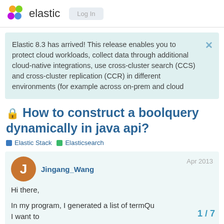elastic  Log In
Elastic 8.3 has arrived! This release enables you to protect cloud workloads, collect data through additional cloud-native integrations, use cross-cluster search (CCS) and cross-cluster replication (CCR) in different environments (for example across on-prem and cloud
🔒 How to construct a boolquery dynamically in java api?
Elastic Stack   Elasticsearch
Jingang_Wang   Apr 2013
Hi there,

In my program, I generated a list of termQu I want to
1 / 7